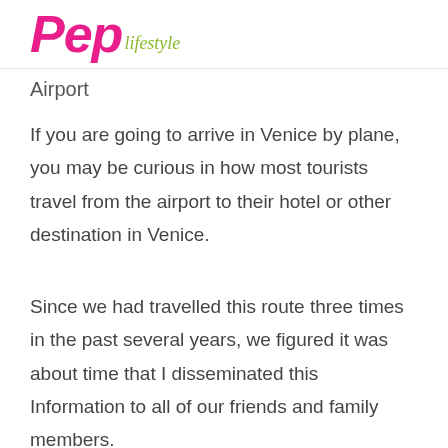Pep Lifestyle
Airport
If you are going to arrive in Venice by plane, you may be curious in how most tourists travel from the airport to their hotel or other destination in Venice.
Since we had travelled this route three times in the past several years, we figured it was about time that I disseminated this Information to all of our friends and family members.